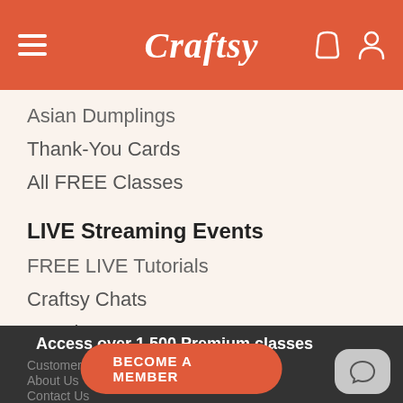Craftsy
Asian Dumplings
Thank-You Cards
All FREE Classes
LIVE Streaming Events
FREE LIVE Tutorials
Craftsy Chats
Premium LIVE Events
Virtual Events
Access over 1,500 Premium classes
Customer Service
About Us
Contact Us
BECOME A MEMBER